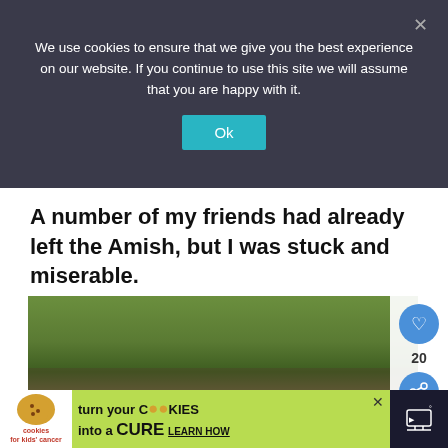We use cookies to ensure that we give you the best experience on our website. If you continue to use this site we will assume that you are happy with it.
Ok
A number of my friends had already left the Amish, but I was stuck and miserable.
[Figure (photo): Group photo of Amish people including women in bonnets and teal dresses, children, and a baby outdoors in a wooded area]
WHAT'S NEXT → My Testimony of Leaving t...
cookies for kids cancer  turn your COOKIES into a CURE  LEARN HOW